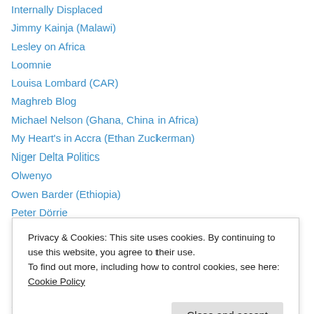Internally Displaced
Jimmy Kainja (Malawi)
Lesley on Africa
Loomnie
Louisa Lombard (CAR)
Maghreb Blog
Michael Nelson (Ghana, China in Africa)
My Heart's in Accra (Ethan Zuckerman)
Niger Delta Politics
Olwenyo
Owen Barder (Ethiopia)
Peter Dörrie
Peter Tinti
Privacy & Cookies: This site uses cookies. By continuing to use this website, you agree to their use. To find out more, including how to control cookies, see here: Cookie Policy
Somalia Newsroom